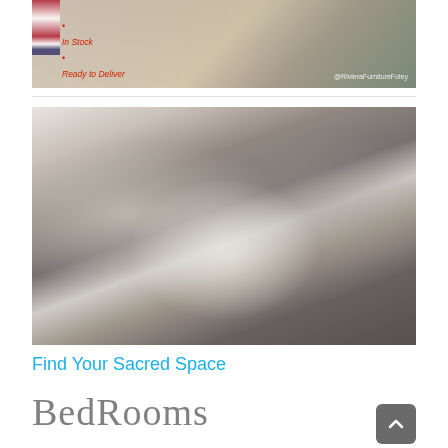[Figure (photo): Top banner photo showing outdoor furniture/dining scene with American flag visible at left edge. Red bullet text overlay reads: In Stock, Ready to Deliver, Great Selection. Watermark: @RivieraFurnitureFoley]
[Figure (photo): Bedroom furniture showroom photo showing a white/gray distressed bed frame with decorative scalloped headboard and footboard, white bedding with decorative pillows, flanked by matching nightstands and dresser with black table lamps]
Find Your Sacred Space
BedRooms